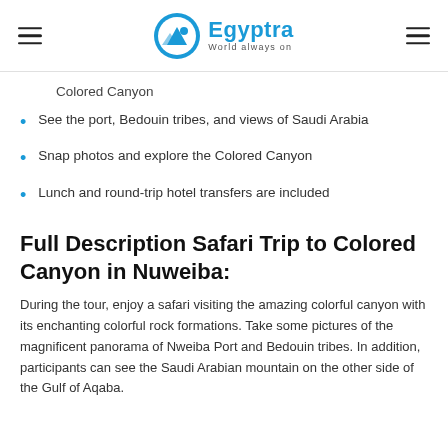Egyptra — World always on
Colored Canyon
See the port, Bedouin tribes, and views of Saudi Arabia
Snap photos and explore the Colored Canyon
Lunch and round-trip hotel transfers are included
Full Description Safari Trip to Colored Canyon in Nuweiba:
During the tour, enjoy a safari visiting the amazing colorful canyon with its enchanting colorful rock formations. Take some pictures of the magnificent panorama of Nweiba Port and Bedouin tribes. In addition, participants can see the Saudi Arabian mountain on the other side of the Gulf of Aqaba.